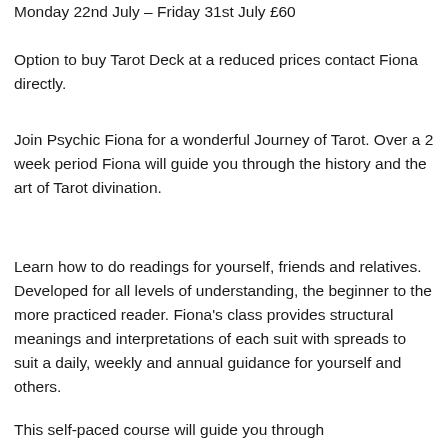Monday 22nd July – Friday 31st July £60
Option to buy Tarot Deck at a reduced prices contact Fiona directly.
Join Psychic Fiona for a wonderful Journey of Tarot. Over a 2 week period Fiona will guide you through the history and the art of Tarot divination.
Learn how to do readings for yourself, friends and relatives. Developed for all levels of understanding, the beginner to the more practiced reader. Fiona's class provides structural meanings and interpretations of each suit with spreads to suit a daily, weekly and annual guidance for yourself and others.
This self-paced course will guide you through the 78 Tarot cards and each card's meaning and...